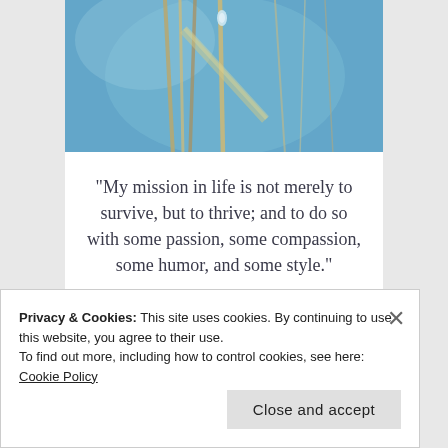[Figure (photo): Close-up photograph of frozen or icy plant stems/reeds against a blue background, with ice droplets visible]
“My mission in life is not merely to survive, but to thrive; and to do so with some passion, some compassion, some humor, and some style.”
Privacy & Cookies: This site uses cookies. By continuing to use this website, you agree to their use.
To find out more, including how to control cookies, see here:
Cookie Policy
Close and accept